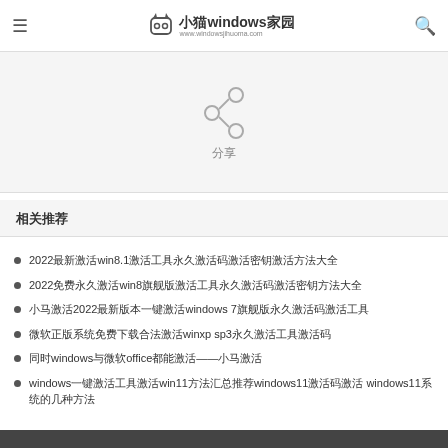小猫windows家园 www.windowsjihuoma.com
[Figure (illustration): Share icon (network share symbol) with three connected circles and lines, gray color, with Chinese text '分享' below]
相关推荐
2022最新激活win8.1激活工具永久激活码激活密钥激活方法大全
2022免费永久激活win8旗舰版激活工具永久激活码激活密钥方法大全
小马激活2022最新版本一键激活windows 7旗舰版永久激活码激活工具
微软正版系统免费下载合法激活winxp sp3永久激活工具激活码
同时windows与微软office都能激活——小马激活
windows一键激活工具激活win11方法汇总推荐windows11激活码激活 windows11系统的几种方法